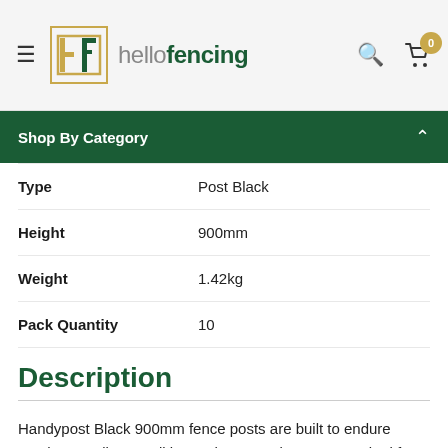hellofencing — navigation header with search and cart
Shop By Category
| Attribute | Value |
| --- | --- |
| Type | Post Black |
| Height | 900mm |
| Weight | 1.42kg |
| Pack Quantity | 10 |
Description
Handypost Black 900mm fence posts are built to endure tough Australian conditions. These steel posts are suited for home/DIY projects, they create a strong and lightweight